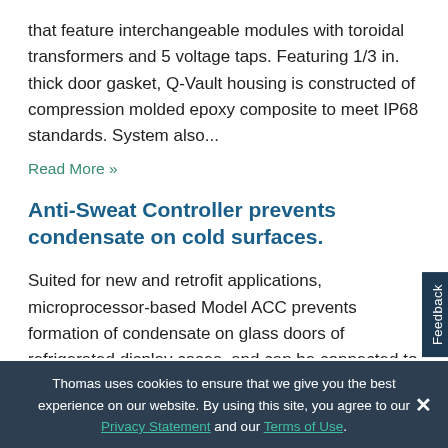that feature interchangeable modules with toroidal transformers and 5 voltage taps. Featuring 1/3 in. thick door gasket, Q-Vault housing is constructed of compression molded epoxy composite to meet IP68 standards. System also...
Read More »
Anti-Sweat Controller prevents condensate on cold surfaces.
Suited for new and retrofit applications, microprocessor-based Model ACC prevents formation of condensate on glass doors of refrigerated display cases, and can be connected to supervisor system with RS485 board. Using ambient temperature and humidity sensor as well as
Thomas uses cookies to ensure that we give you the best experience on our website. By using this site, you agree to our Privacy Statement and our Terms of Use.